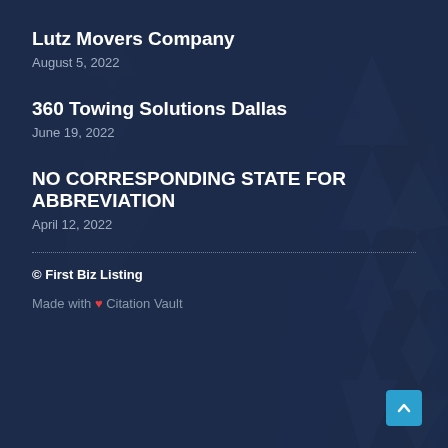[Figure (illustration): Dark blue background with silhouetted pine/fir trees]
Lutz Movers Company
August 5, 2022
360 Towing Solutions Dallas
June 19, 2022
NO CORRESPONDING STATE FOR ABBREVIATION
April 12, 2022
© First Biz Listing
Made with ❤ Citation Vault